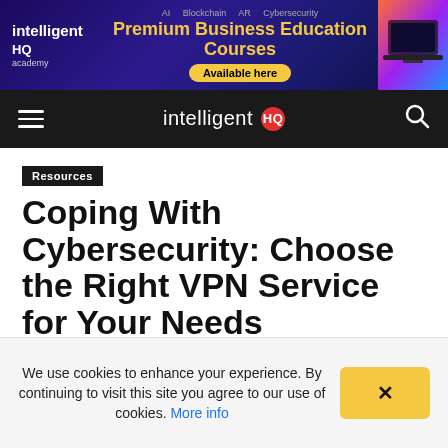[Figure (screenshot): IntelligentHQ Academy advertisement banner with purple/dark gradient background, gold text reading 'Premium Business Education Courses', with 'Available here' button and laptop image on the right]
intelligent HQ
Resources
Coping With Cybersecurity: Choose the Right VPN Service for Your Needs
By IntelligentHQ -
We use cookies to enhance your experience. By continuing to visit this site you agree to our use of cookies. More info